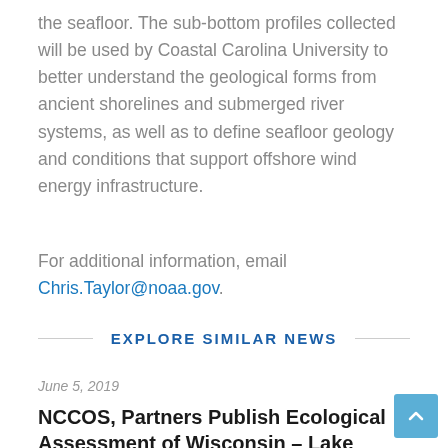the seafloor. The sub-bottom profiles collected will be used by Coastal Carolina University to better understand the geological forms from ancient shorelines and submerged river systems, as well as to define seafloor geology and conditions that support offshore wind energy infrastructure.
For additional information, email Chris.Taylor@noaa.gov.
EXPLORE SIMILAR NEWS
June 5, 2019
NCCOS, Partners Publish Ecological Assessment of Wisconsin – Lake Michigan